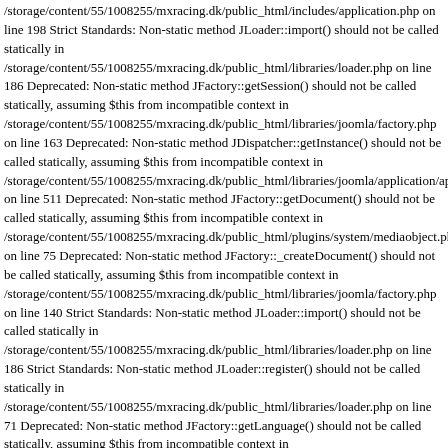/storage/content/55/1008255/mxracing.dk/public_html/includes/application.php on line 198 Strict Standards: Non-static method JLoader::import() should not be called statically in /storage/content/55/1008255/mxracing.dk/public_html/libraries/loader.php on line 186 Deprecated: Non-static method JFactory::getSession() should not be called statically, assuming $this from incompatible context in /storage/content/55/1008255/mxracing.dk/public_html/libraries/joomla/factory.php on line 163 Deprecated: Non-static method JDispatcher::getInstance() should not be called statically, assuming $this from incompatible context in /storage/content/55/1008255/mxracing.dk/public_html/libraries/joomla/application/applicatio on line 511 Deprecated: Non-static method JFactory::getDocument() should not be called statically, assuming $this from incompatible context in /storage/content/55/1008255/mxracing.dk/public_html/plugins/system/mediaobject.php on line 75 Deprecated: Non-static method JFactory::_createDocument() should not be called statically, assuming $this from incompatible context in /storage/content/55/1008255/mxracing.dk/public_html/libraries/joomla/factory.php on line 140 Strict Standards: Non-static method JLoader::import() should not be called statically in /storage/content/55/1008255/mxracing.dk/public_html/libraries/loader.php on line 186 Strict Standards: Non-static method JLoader::register() should not be called statically in /storage/content/55/1008255/mxracing.dk/public_html/libraries/loader.php on line 71 Deprecated: Non-static method JFactory::getLanguage() should not be called statically, assuming $this from incompatible context in /storage/content/55/1008255/mxracing.dk/public_html/libraries/joomla/factory.php on line 702 Deprecated: Non-static method JRequest::getBool() should not be called statically, assuming $this from incompatible context in /storage/content/55/1008255/mxracing.dk/public_html/libraries/joomla/factory.php on line 705 Deprecated: Non-static method JRequest::getVar() should not be called statically, assuming $this from incompatible context in /storage/content/55/1008255/mxracing.dk/public_html/libraries/joomla/environment/request.